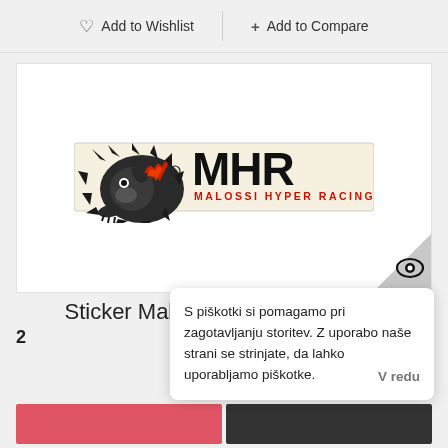♡ Add to Wishlist  + Add to Compare
[Figure (logo): Malossi MHR sticker product image: lion mascot with fire, bold MHR lettering, 'MALOSSI HYPER RACING' text, on cream background]
Sticker Malossi MHR 149x44mm
S piškotki si pomagamo pri zagotavljanju storitev. Z uporabo naše strani se strinjate, da lahko uporabljamo piškotke. V redu